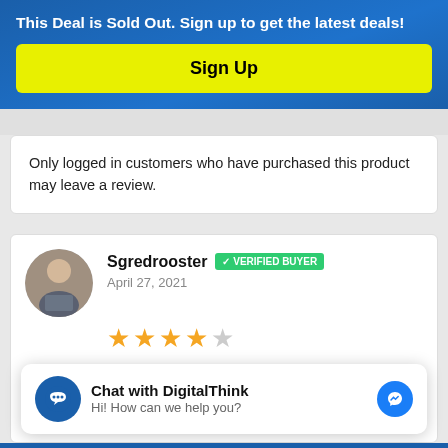This Deal is Sold Out. Sign up to get the latest deals!
Sign Up
Only logged in customers who have purchased this product may leave a review.
Sgredrooster  VERIFIED BUYER
April 27, 2021
★★★★☆
Chat with DigitalThink
Hi! How can we help you?
learnt about Tomba, my interest was piqued. For a plan similar to Hunter...